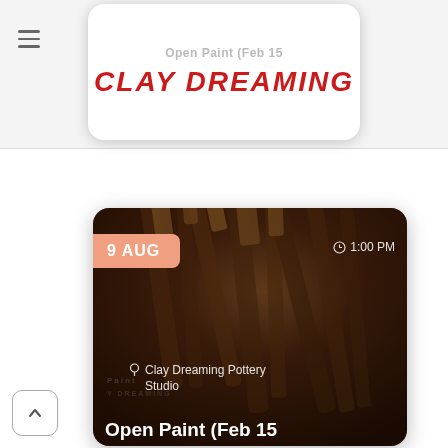Open Paint (Feb 15
[Figure (logo): Clay Dreaming logo — stylized red italic text on white card]
[Figure (photo): Event card showing paintbrushes background with date badge '9 AUG', time '1:00 PM', location 'Clay Dreaming Pottery Studio', and title 'Open Paint (Feb 15']
9 AUG
1:00 PM
Clay Dreaming Pottery Studio
Open Paint (Feb 15